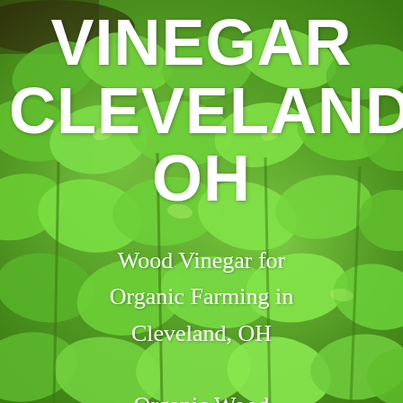[Figure (photo): Close-up photo of dense rows of young green leafy plants (likely spinach or similar greens) growing in a garden, with rich green foliage filling the entire frame against a slightly blurred background.]
VINEGAR CLEVELAND, OH
Wood Vinegar for Organic Farming in Cleveland, OH

Organic Wood Vinegar